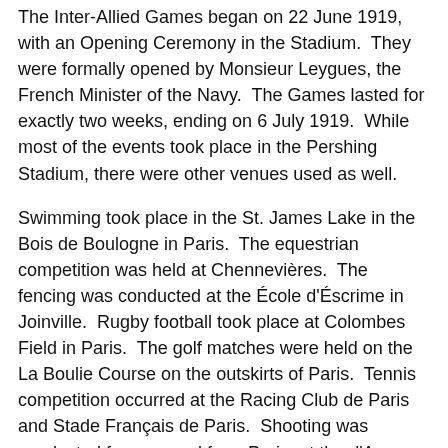The Inter-Allied Games began on 22 June 1919, with an Opening Ceremony in the Stadium. They were formally opened by Monsieur Leygues, the French Minister of the Navy. The Games lasted for exactly two weeks, ending on 6 July 1919. While most of the events took place in the Pershing Stadium, there were other venues used as well.
Swimming took place in the St. James Lake in the Bois de Boulogne in Paris. The equestrian competition was held at Chennevières. The fencing was conducted at the École d'Éscrime in Joinville. Rugby football took place at Colombes Field in Paris. The golf matches were held on the La Boulie Course on the outskirts of Paris. Tennis competition occurred at the Racing Club de Paris and Stade Français de Paris. Shooting was conducted far removed from Paris, at the d'Auvours range near Le Mans.
The 1919 Inter-Allied Games ended on Sunday, 6 July. Two events were held that day – a baseball game between the United States and Canada and the light-heavyweight boxing...